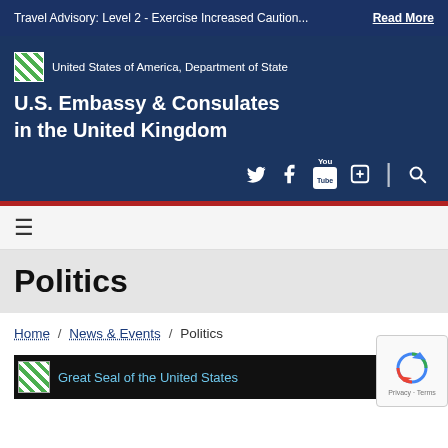Travel Advisory: Level 2 - Exercise Increased Caution...  Read More
U.S. Embassy & Consulates in the United Kingdom
[Figure (logo): United States of America, Department of State logo placeholder]
[Figure (infographic): Social media icons: Twitter, Facebook, YouTube, plus/RSS, search]
Politics
Home / News & Events / Politics
[Figure (photo): Great Seal of the United States - dark banner image]